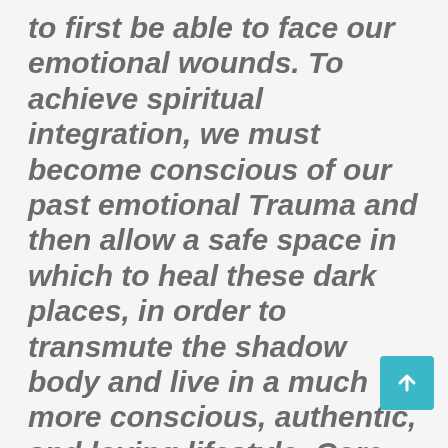to first be able to face our emotional wounds. To achieve spiritual integration, we must become conscious of our past emotional Trauma and then allow a safe space in which to heal these dark places, in order to transmute the shadow body and live in a much more conscious, authentic, and loving lifestyle. Core emotional wounds that form into our shadow and pain body sabotage our divine purpose and prevent us from finding deeper meaning in life, it dampens our joy and interferes